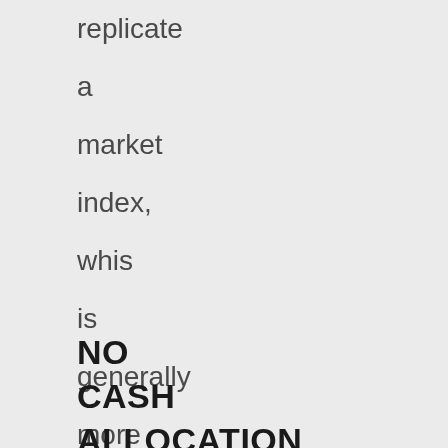replicate a market index, whis is generally more cost effective than actively-managing funds.
NO CASH ALLOCATION